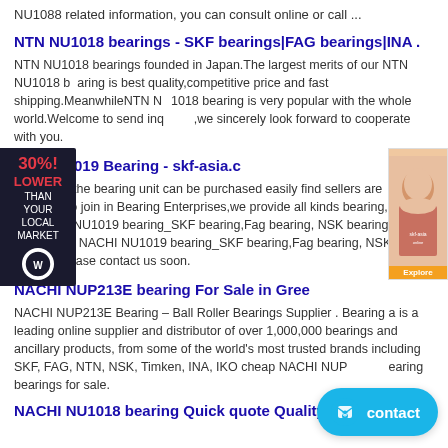NU1088 related information, you can consult online or call ...
NTN NU1018 bearings - SKF bearings|FAG bearings|INA .
NTN NU1018 bearings founded in Japan.The largest merits of our NTN NU1018 bearing is best quality,competitive price and fast shipping.MeanwhileNTN NU1018 bearing is very popular with the whole world.Welcome to send inq...s,we sincerely look forward to cooperate with you.
CHI NU1019 Bearing - skf-asia.c
6 bearing, the bearing unit can be purchased easily find sellers are come to join in Bearing Enterprises,we provide all kinds bearing, such as NACHI NU1019 bearing_SKF bearing,Fag bearing, NSK bearing,If you need such: NACHI NU1019 bearing_SKF bearing,Fag bearing, NSK bearing,please contact us soon.
NACHI NUP213E bearing For Sale in Gree
NACHI NUP213E Bearing – Ball Roller Bearings Supplier . Bearing a is a leading online supplier and distributor of over 1,000,000 bearings and ancillary products, from some of the world's most trusted brands including SKF, FAG, NTN, NSK, Timken, INA, IKO cheap NACHI NUP213E Bearing bearings for sale.
NACHI NU1018 bearing Quick quote Quality NU1018 beari